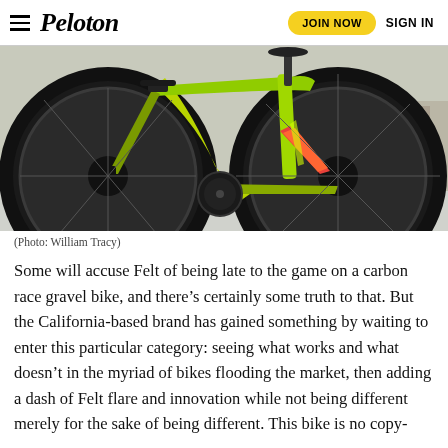Peloton | JOIN NOW | SIGN IN
[Figure (photo): Close-up photo of a yellow-green and red/orange colored carbon gravel bicycle with black wheels, photographed in a studio or garage setting.]
(Photo: William Tracy)
Some will accuse Felt of being late to the game on a carbon race gravel bike, and there’s certainly some truth to that. But the California-based brand has gained something by waiting to enter this particular category: seeing what works and what doesn’t in the myriad of bikes flooding the market, then adding a dash of Felt flare and innovation while not being different merely for the sake of being different. This bike is no copy-